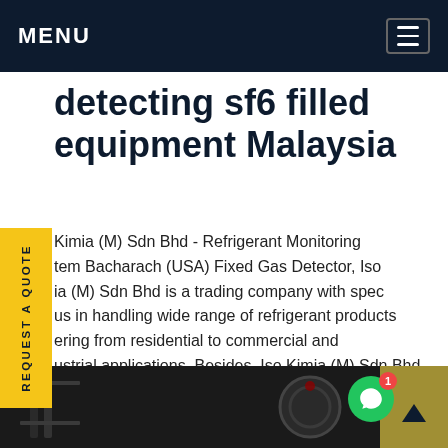MENU
detecting sf6 filled equipment Malaysia
Kimia (M) Sdn Bhd - Refrigerant Monitoring tem Bacharach (USA) Fixed Gas Detector, Iso ia (M) Sdn Bhd is a trading company with spec us in handling wide range of refrigerant products ering from residential to commercial and ustrial applications. Besides, Iso Kimia (M) Sdn Bhd o trade in silver brazing alloy, air-cond and igeration equipments, Get price
[Figure (photo): Dark photo strip at bottom showing industrial/refrigeration equipment]